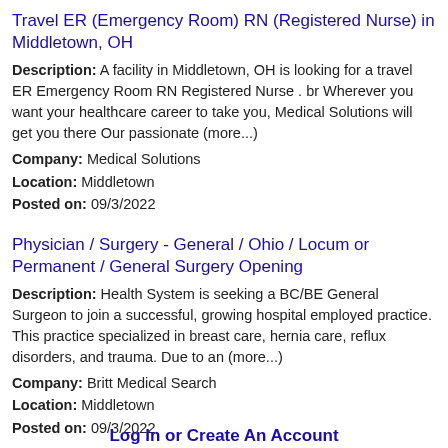Travel ER (Emergency Room) RN (Registered Nurse) in Middletown, OH
Description: A facility in Middletown, OH is looking for a travel ER Emergency Room RN Registered Nurse . br Wherever you want your healthcare career to take you, Medical Solutions will get you there Our passionate (more...)
Company: Medical Solutions
Location: Middletown
Posted on: 09/3/2022
Physician / Surgery - General / Ohio / Locum or Permanent / General Surgery Opening
Description: Health System is seeking a BC/BE General Surgeon to join a successful, growing hospital employed practice. This practice specialized in breast care, hernia care, reflux disorders, and trauma. Due to an (more...)
Company: Britt Medical Search
Location: Middletown
Posted on: 09/3/2022
Loading more jobs...
Log In or Create An Account